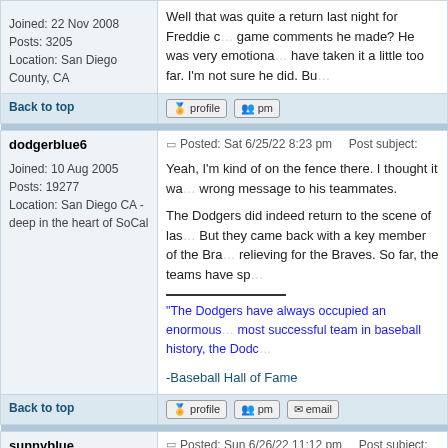Joined: 22 Nov 2008
Posts: 3205
Location: San Diego County, CA
Well that was quite a return last night for Freddie c... game comments he made? He was very emotiona... have taken it a little too far. I'm not sure he did. Bu...
Back to top
dodgerblue6
Posted: Sat 6/25/22 8:23 pm    Post subject:
Joined: 10 Aug 2005
Posts: 19277
Location: San Diego CA - deep in the heart of SoCal
Yeah, I'm kind of on the fence there. I thought it wa... wrong message to his teammates.

The Dodgers did indeed return to the scene of las... But they came back with a key member of the Bra... relieving for the Braves. So far, the teams have sp...
"The Dodgers have always occupied an enormous... most successful team in baseball history, the Dodc...

-Baseball Hall of Fame
Back to top
sunnyblue
Posted: Sun 6/26/22 11:12 pm    Post subject:
Joined: 22 Nov 2008
Posts: 3205
Location: San Diego County, CA
Now, the Dodgers came from having a dead offen-... game at 2 in the 9th inning and then ended up win...